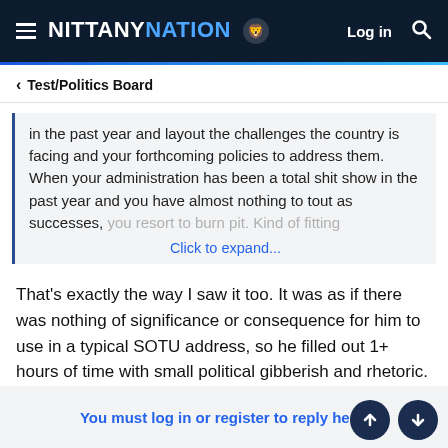NITTANY NATION — Log in
< Test/Politics Board
in the past year and layout the challenges the country is facing and your forthcoming policies to address them. When your administration has been a total shit show in the past year and you have almost nothing to tout as successes, you resort to burn pit. Kind of fitting
Click to expand...
That's exactly the way I saw it too. It was as if there was nothing of significance or consequence for him to use in a typical SOTU address, so he filled out 1+ hours of time with small political gibberish and rhetoric.
You must log in or register to reply here.